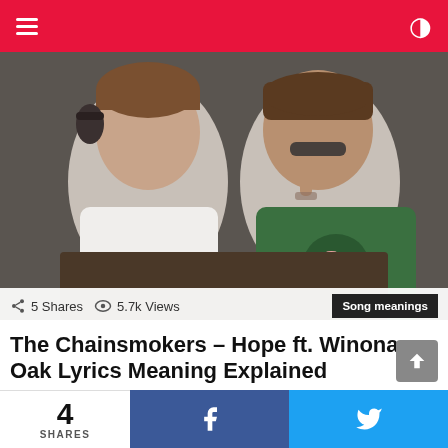Navigation bar with hamburger menu and moon icon
[Figure (photo): Two young men sitting together, one in a white t-shirt and one in a green graphic t-shirt, posed in what appears to be a vehicle interior]
5 Shares  5.7k Views  Song meanings
The Chainsmokers – Hope ft. Winona Oak Lyrics Meaning Explained
Hope is a song by popular American music duo, The Chainsmokers, featuring Swedish singer, Winona Oak. The song is the last single in the Chainsmokers' 2018 album, Sick Boy and was released on December 14, 2018, the same day the album was released. What is The
4 SHARES  f  Twitter bird icon